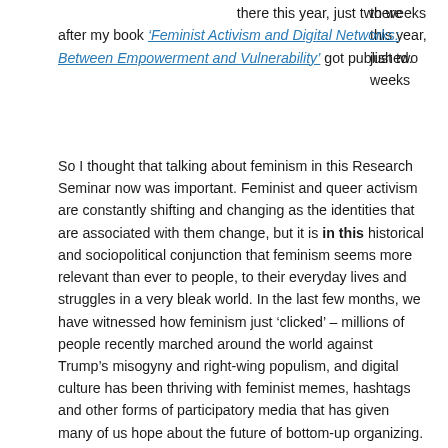there this year, just two weeks after my book 'Feminist Activism and Digital Networks: Between Empowerment and Vulnerability' got published.
So I thought that talking about feminism in this Research Seminar now was important. Feminist and queer activism are constantly shifting and changing as the identities that are associated with them change, but it is in this historical and sociopolitical conjunction that feminism seems more relevant than ever to people, to their everyday lives and struggles in a very bleak world. In the last few months, we have witnessed how feminism just 'clicked' – millions of people recently marched around the world against Trump's misogyny and right-wing populism, and digital culture has been thriving with feminist memes, hashtags and other forms of participatory media that has given many of us hope about the future of bottom-up organizing. It is the first time after many years that feminist issues are the central issues in cultural and political life, and not just the preoccupations of feminist. The